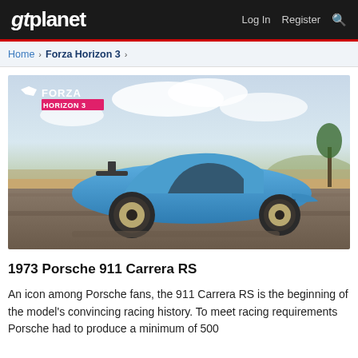gtplanet  Log In  Register  🔍
Home > Forza Horizon 3 >
[Figure (photo): A blue Porsche 911 Carrera RS driving on a road in a desert landscape, from the Forza Horizon 3 video game. The Forza Horizon 3 logo is visible in the top-left corner of the image.]
1973 Porsche 911 Carrera RS
An icon among Porsche fans, the 911 Carrera RS is the beginning of the model's convincing racing history. To meet racing requirements Porsche had to produce a minimum of 500